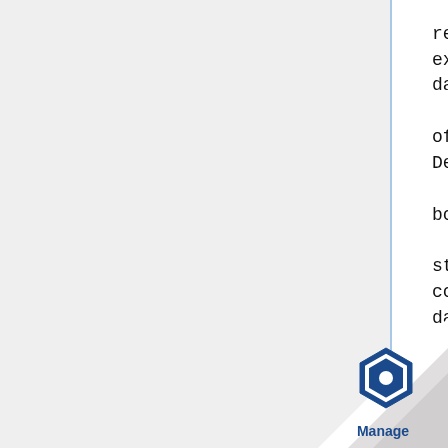If True, returned data will be exactly as written in the data file,
                ignoring offset or scaling values. Defaults to False.
        decode_strings : bool, optional
                If True, strings data types contained in the returned data will be
                        decoded to the a unicode in Python 2, and to the str type in
                                Python 3. If False, leaves string types as byte strings.
                        Defaults to True.

        Returns
        -------
        StructureL
[Figure (logo): Manage logo - blue hexagon shape with 'Manage' text, shown in bottom right corner with page curl effect]